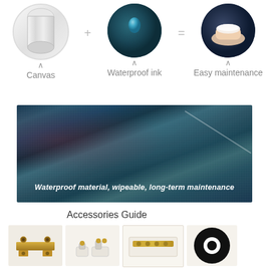[Figure (infographic): Three circular images showing Canvas (white roll), Waterproof ink (dark teal fabric with water drop), and Easy maintenance (hand wiping dark surface), with plus and equals symbols between them and labels below each]
[Figure (photo): Close-up photo of canvas texture with waterproof coating, showing teal/dark blue tones. Text overlay reads: Waterproof material, wipeable, long-term maintenance]
Waterproof material, wipeable, long-term maintenance
Accessories Guide
[Figure (photo): Four accessory product photos showing: golden D-ring hanger bracket, white push pins/hooks, wire hanging hardware on white frame, and partial black circle (QR code or logo)]